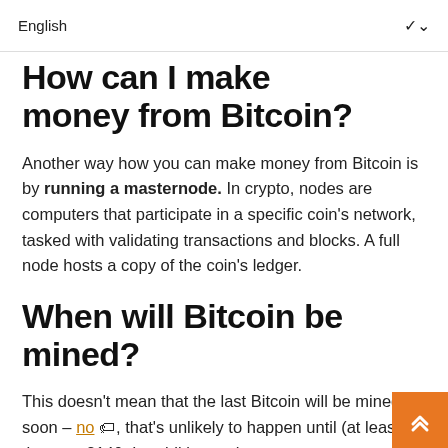English
How can I make money from Bitcoin?
Another way how you can make money from Bitcoin is by running a masternode. In crypto, nodes are computers that participate in a specific coin's network, tasked with validating transactions and blocks. A full node hosts a copy of the coin's ledger.
When will Bitcoin be mined?
This doesn't mean that the last Bitcoin will be mined soon – no 🏷, that's unlikely to happen until (at least) the year 2140. In addition to that,